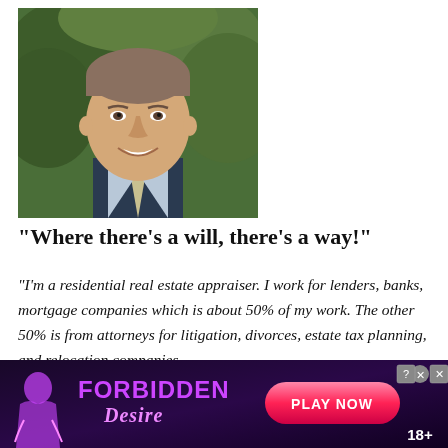[Figure (photo): Headshot of a middle-aged man smiling, wearing a dark blazer and light tie, with green foliage in the background]
“Where there’s a will, there’s a way!”
“I’m a residential real estate appraiser. I work for lenders, banks, mortgage companies which is about 50% of my work. The other 50% is from attorneys for litigation, divorces, estate tax planning, and relocation companies.
[Figure (advertisement): Dark purple ad banner for 'Forbidden Desire' with a PLAY NOW button and 18+ label]